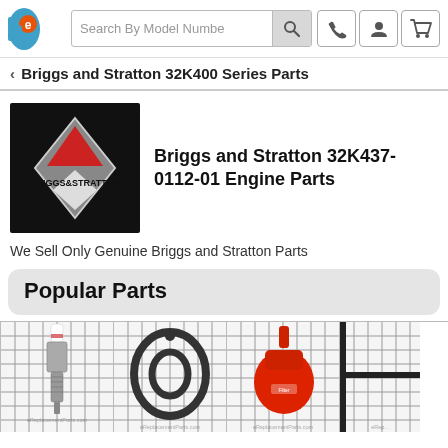[Figure (screenshot): Website navbar with logo (eReplacementParts wrench-e logo), search box saying 'Search By Model Numbe', search button, phone icon, user icon, and shopping cart icon]
< Briggs and Stratton 32K400 Series Parts
[Figure (logo): Briggs & Stratton logo on black background with diamond shape and red triangle]
Briggs and Stratton 32K437-0112-01 Engine Parts
We Sell Only Genuine Briggs and Stratton Parts
Popular Parts
[Figure (photo): Spark plug part on grid background with watermark]
[Figure (photo): Gasket part (oval/ring shape) on grid background with watermark]
[Figure (photo): Red fuel filter part on grid background with watermark]
[Figure (photo): Partial part image on grid background with watermark, cut off at right edge]